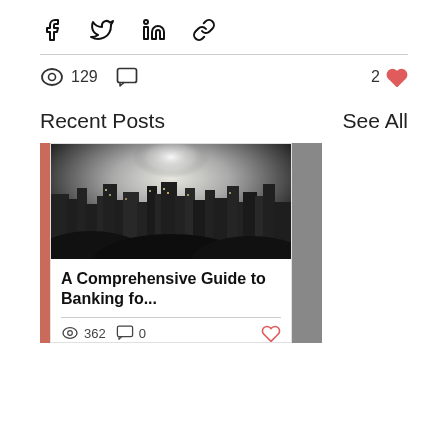Share icons: Facebook, Twitter, LinkedIn, Link
129 views, 0 comments, 2 likes
Recent Posts
See All
[Figure (photo): Black and white nighttime cityscape photo, showing illuminated skyscrapers and city lights with dramatic sky, used as thumbnail for blog post card]
A Comprehensive Guide to Banking fo...
362 views, 0 comments, heart (likes)